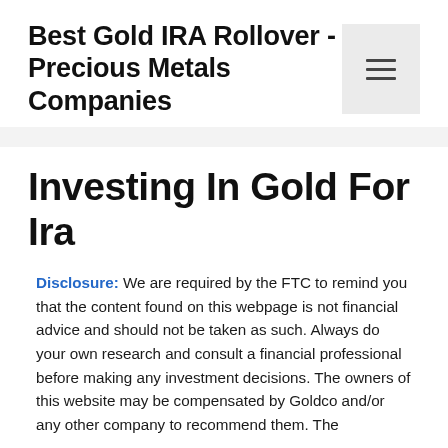Best Gold IRA Rollover - Precious Metals Companies
Investing In Gold For Ira
Disclosure: We are required by the FTC to remind you that the content found on this webpage is not financial advice and should not be taken as such. Always do your own research and consult a financial professional before making any investment decisions. The owners of this website may be compensated by Goldco and/or any other company to recommend them. The